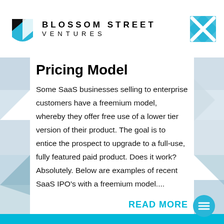BLOSSOM STREET VENTURES
Pricing Model
Some SaaS businesses selling to enterprise customers have a freemium model, whereby they offer free use of a lower tier version of their product. The goal is to entice the prospect to upgrade to a full-use, fully featured paid product. Does it work? Absolutely. Below are examples of recent SaaS IPO's with a freemium model....
READ MORE